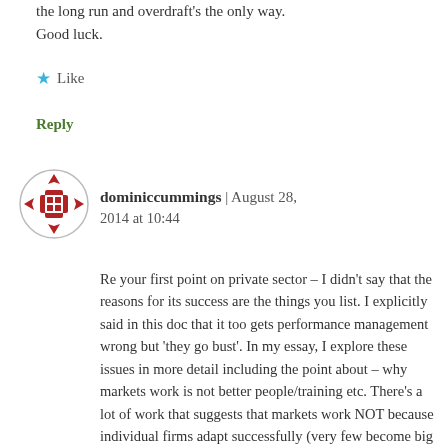the long run and overdraft's the only way. Good luck.
★ Like
Reply
[Figure (logo): Circular avatar icon with red decorative cross/diamond pattern on white background with circular border]
dominiccummings | August 28, 2014 at 10:44
Re your first point on private sector – I didn't say that the reasons for its success are the things you list. I explicitly said in this doc that it too gets performance management wrong but 'they go bust'. In my essay, I explore these issues in more detail including the point about – why markets work is not better people/training etc. There's a lot of work that suggests that markets work NOT because individual firms adapt successfully (very few become big and